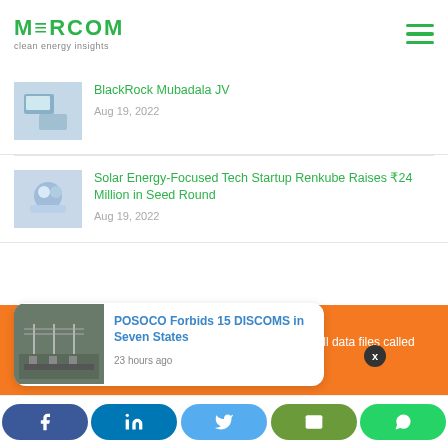MERCOM clean energy insights
BlackRock Mubadala JV
Aug 19, 2022
Solar Energy-Focused Tech Startup Renkube Raises ₹24 Million in Seed Round
Aug 19, 2022
Cookies
To make this site work properly, we sometimes place small data files called cookies on your device. Most websites do this too.
[Figure (screenshot): POSOCO Forbids 15 DISCOMS in Seven States notification card with thumbnail of electrical substation, time: 23 hours ago]
Social share bar: Facebook, LinkedIn, Twitter, Email, WhatsApp